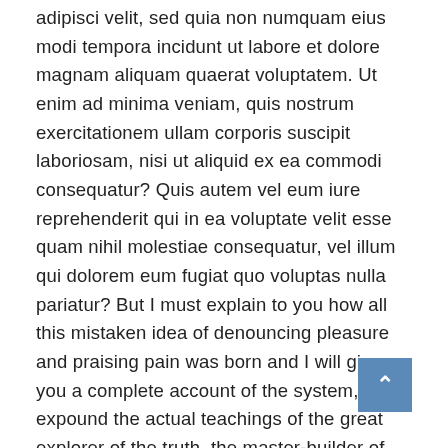adipisci velit, sed quia non numquam eius modi tempora incidunt ut labore et dolore magnam aliquam quaerat voluptatem. Ut enim ad minima veniam, quis nostrum exercitationem ullam corporis suscipit laboriosam, nisi ut aliquid ex ea commodi consequatur? Quis autem vel eum iure reprehenderit qui in ea voluptate velit esse quam nihil molestiae consequatur, vel illum qui dolorem eum fugiat quo voluptas nulla pariatur? But I must explain to you how all this mistaken idea of denouncing pleasure and praising pain was born and I will give you a complete account of the system, and expound the actual teachings of the great explorer of the truth, the master-builder of human happiness. No one rejects, dislikes, or avoids pleasure itself, because it is pleasure, but because those who do not know how.Nor again is there anyone who loves or pursues or desires to obtain pain of itself, because it is pain, but